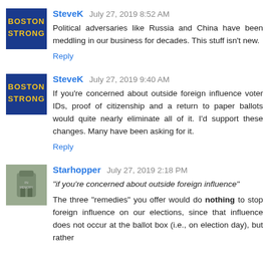[Figure (logo): Boston Strong logo avatar - blue background with yellow text]
SteveK  July 27, 2019 8:52 AM
Political adversaries like Russia and China have been meddling in our business for decades. This stuff isn't new.
Reply
[Figure (logo): Boston Strong logo avatar - blue background with yellow text]
SteveK  July 27, 2019 9:40 AM
If you're concerned about outside foreign influence voter IDs, proof of citizenship and a return to paper ballots would quite nearly eliminate all of it. I'd support these changes. Many have been asking for it.
Reply
[Figure (photo): Starhopper avatar - gravestone or monument photo]
Starhopper  July 27, 2019 2:18 PM
"if you're concerned about outside foreign influence"
The three "remedies" you offer would do nothing to stop foreign influence on our elections, since that influence does not occur at the ballot box (i.e., on election day), but rather